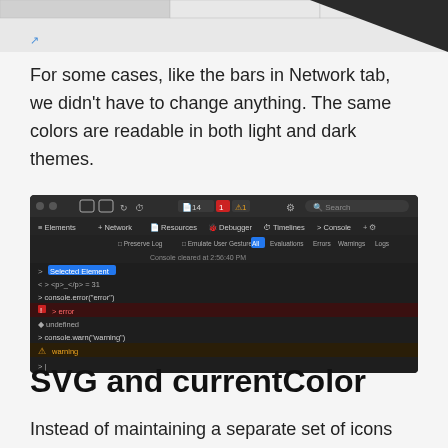[Figure (screenshot): Partial screenshot of a browser developer tools interface at the top of the page, showing a light-themed toolbar with tabs.]
For some cases, like the bars in Network tab, we didn't have to change anything. The same colors are readable in both light and dark themes.
[Figure (screenshot): Screenshot of Safari/WebKit Web Inspector in dark mode showing the Console tab. Visible elements include toolbar with Elements, Network, Resources, Debugger, Timelines, Console tabs; console output showing 'Selected Element', '<p>_</p> = 31', 'console.error("error")', an error row highlighted in red showing '> error', 'undefined', 'console.warn("warning")', a warning row highlighted in dark orange-brown showing '▲ warning', and a cursor prompt.]
SVG and currentColor
Instead of maintaining a separate set of icons for